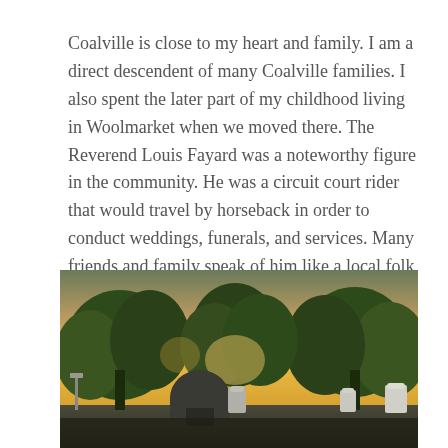Coalville is close to my heart and family.  I am a direct descendent of many Coalville families.  I also spent the later part of my childhood living in Woolmarket when we moved there. The Reverend Louis Fayard was a noteworthy figure in the community.  He was a circuit court rider that would travel by horseback in order to conduct weddings, funerals, and services.  Many friends and family speak of him like a local folk hero. He is also a resident of Coalville Cemetery.
[Figure (photo): A cemetery at dusk with gravestones in the foreground and trees with golden sunset light in the background.]